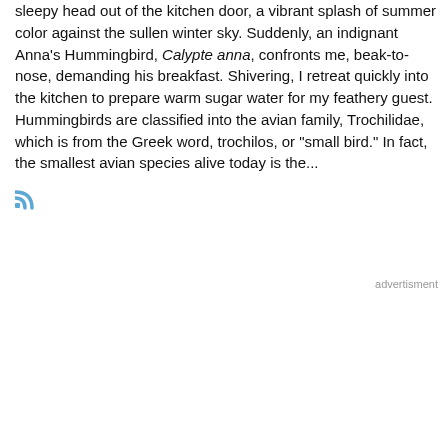sleepy head out of the kitchen door, a vibrant splash of summer color against the sullen winter sky. Suddenly, an indignant Anna's Hummingbird, Calypte anna, confronts me, beak-to-nose, demanding his breakfast. Shivering, I retreat quickly into the kitchen to prepare warm sugar water for my feathery guest. Hummingbirds are classified into the avian family, Trochilidae, which is from the Greek word, trochilos, or "small bird." In fact, the smallest avian species alive today is the...
[Figure (other): RSS feed icon (orange/blue Wi-Fi style symbol)]
advertisment